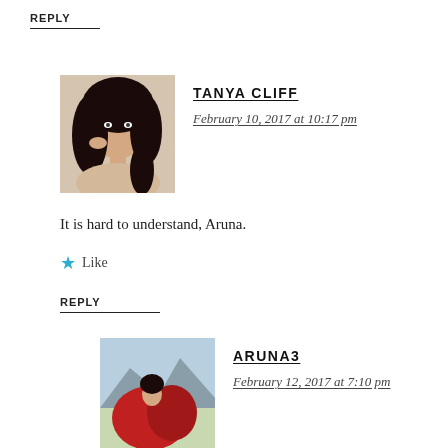REPLY
[Figure (photo): Profile photo of Tanya Cliff, a woman with long dark hair]
TANYA CLIFF
February 10, 2017 at 10:17 pm
It is hard to understand, Aruna.
Like
REPLY
[Figure (photo): Profile photo of Aruna3, person with red fabric/clothing outdoors]
ARUNA3
February 12, 2017 at 7:10 pm